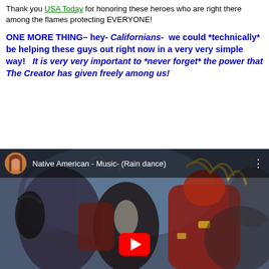Thank you USA Today for honoring these heroes who are right there among the flames protecting EVERYONE!
ONE MORE THING– hey- Californians- we could *technically* be helping these guys out right now in a very very simple way! It is very very important to *never forget* the power that The Creator has given freely among us!
[Figure (screenshot): YouTube video thumbnail showing Native American dancers in traditional red regalia with feathers, painting-style artwork. YouTube bar at top shows channel avatar, title 'Native American - Music- (Rain dance)' and three-dots menu. Red YouTube play button at bottom center.]